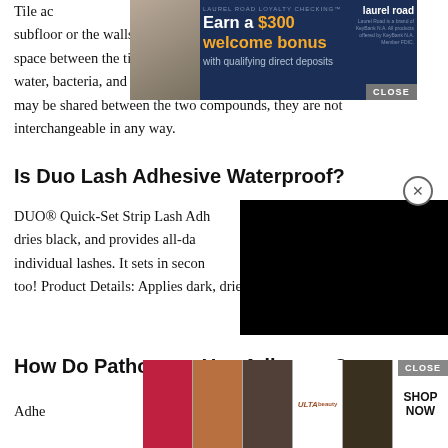Tile adhesive is used to adhere the tiles directly to the subfloor or the walls. Grout is used specifically to fill in the space between the tiles and further seal the spaces from water, bacteria, and dust. Though some of the ingredients may be shared between the two compounds, they are not interchangeable in any way.
[Figure (screenshot): Advertisement banner for Laurel Road Loyalty Checking: 'Earn a $300 welcome bonus with qualifying direct deposits'. Shows a woman on the left and the Laurel Road logo on the right. CLOSE button visible.]
Is Duo Lash Adhesive Waterproof?
[Figure (screenshot): Black video overlay box partially covering article content. Circle X close button visible at top right.]
DUO® Quick-Set Strip Lash Adhesive is waterproof, dries black, and provides all-day hold for strip and individual lashes. It sets in seconds and dries clear too! Product Details: Applies dark, dries black.
How Do Pathogens Use Adhesion?
Adhesins are used on
[Figure (screenshot): Bottom advertisement bar with beauty product images: lipstick, makeup brush, eye makeup, ULTA Beauty logo, eye makeup close-up. SHOP NOW button on right. CLOSE button visible.]